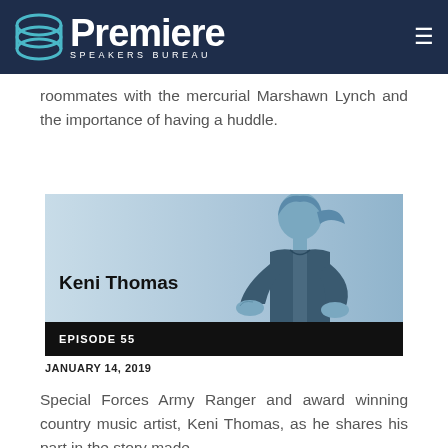Premiere Speakers Bureau
roommates with the mercurial Marshawn Lynch and the importance of having a huddle.
[Figure (photo): Promotional card for Keni Thomas episode. Blue-tinted photo of a young man with long hair leaning forward. Text overlay reads 'Keni Thomas' and black bar at bottom reads 'EPISODE 55'.]
JANUARY 14, 2019
Special Forces Army Ranger and award winning country music artist, Keni Thomas, as he shares his part in the story made